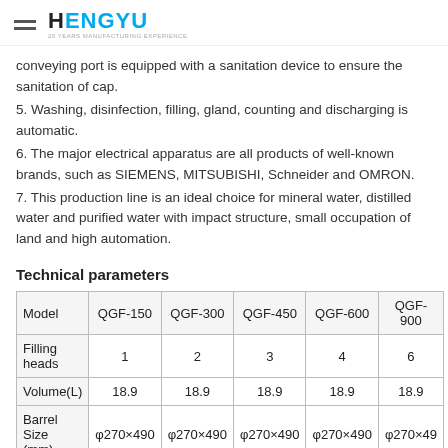HENGYU — 20 YEARS MANUFACTURING EXPERIENCE
conveying port is equipped with a sanitation device to ensure the sanitation of cap.
5. Washing, disinfection, filling, gland, counting and discharging is automatic.
6. The major electrical apparatus are all products of well-known brands, such as SIEMENS, MITSUBISHI, Schneider and OMRON.
7. This production line is an ideal choice for mineral water, distilled water and purified water with impact structure, small occupation of land and high automation.
Technical parameters
| Model | QGF-150 | QGF-300 | QGF-450 | QGF-600 | QGF-900 |
| --- | --- | --- | --- | --- | --- |
| Filling heads | 1 | 2 | 3 | 4 | 6 |
| Volume(L) | 18.9 | 18.9 | 18.9 | 18.9 | 18.9 |
| Barrel Size (mm) | φ270×490 | φ270×490 | φ270×490 | φ270×490 | φ270×49 |